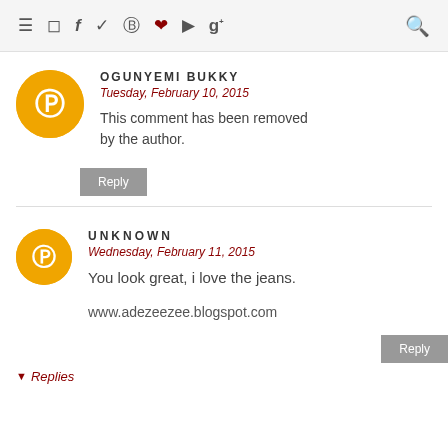≡  [instagram] [facebook] [twitter] [pinterest] [heart] [youtube] [google+]  [search]
OGUNYEMI BUKKY
Tuesday, February 10, 2015
This comment has been removed by the author.
Reply
UNKNOWN
Wednesday, February 11, 2015
You look great, i love the jeans.
www.adezeezee.blogspot.com
Reply
▾ Replies